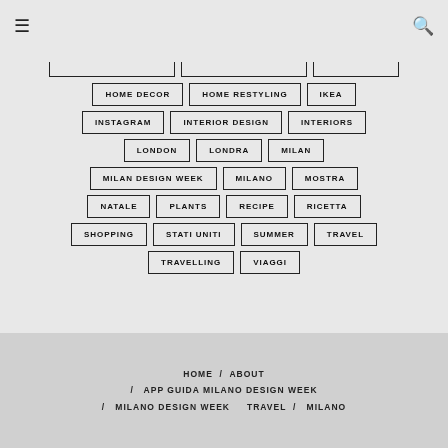☰ [menu] [search]
HOME DECOR
HOME RESTYLING
IKEA
INSTAGRAM
INTERIOR DESIGN
INTERIORS
LONDON
LONDRA
MILAN
MILAN DESIGN WEEK
MILANO
MOSTRA
NATALE
PLANTS
RECIPE
RICETTA
SHOPPING
STATI UNITI
SUMMER
TRAVEL
TRAVELLING
VIAGGI
HOME / ABOUT / APP GUIDA MILANO DESIGN WEEK / MILANO DESIGN WEEK / TRAVEL / MILANO